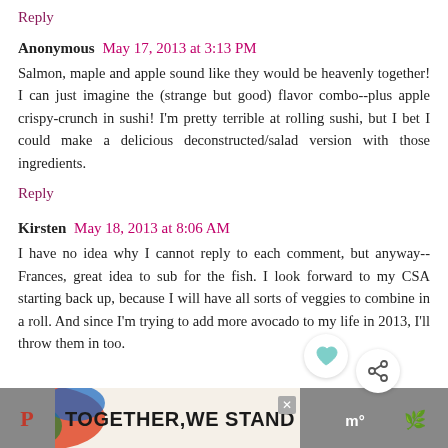Reply
Anonymous  May 17, 2013 at 3:13 PM
Salmon, maple and apple sound like they would be heavenly together! I can just imagine the (strange but good) flavor combo--plus apple crispy-crunch in sushi! I'm pretty terrible at rolling sushi, but I bet I could make a delicious deconstructed/salad version with those ingredients.
Reply
Kirsten  May 18, 2013 at 8:06 AM
I have no idea why I cannot reply to each comment, but anyway--Frances, great idea to sub for the fish. I look forward to my CSA starting back up, because I will have all sorts of veggies to combine in a roll. And since I'm trying to add more avocado to my life in 2013, I'll throw them in too.
[Figure (infographic): Advertisement banner at bottom: colorful blobs with text TOGETHER WE STAND, close button, and social share icons]